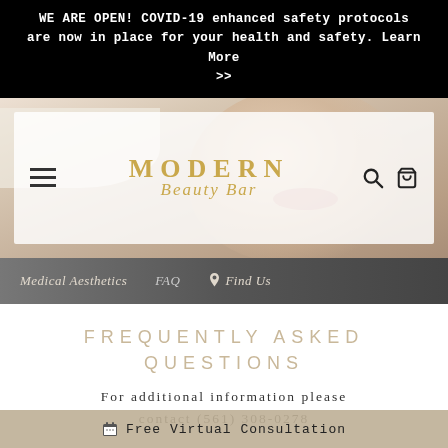WE ARE OPEN! COVID-19 enhanced safety protocols are now in place for your health and safety. Learn More >>
[Figure (screenshot): Modern Beauty Bar logo with hamburger menu on left, search and cart icons on right, over a blurred background photo of a woman's face/lips]
Medical Aesthetics   FAQ   Find Us
FREQUENTLY ASKED QUESTIONS
For additional information please contact (561) 308-0278
WHAT IS MICROBLADING?
Free Virtual Consultation